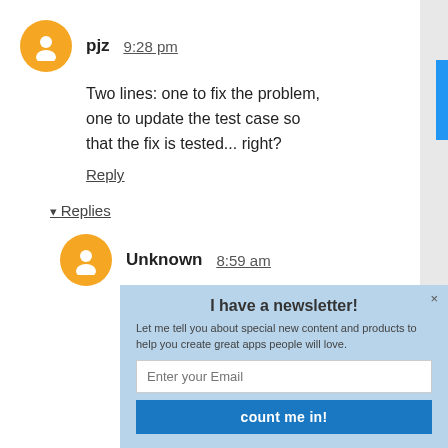pjz 9:28 pm — Two lines: one to fix the problem, one to update the test case so that the fix is tested... right?
Reply
▾ Replies
Unknown 8:59 am — I was about to comment the same, but then reading the
[Figure (screenshot): Newsletter popup overlay: 'I have a newsletter!' with description, email input, and 'count me in!' button]